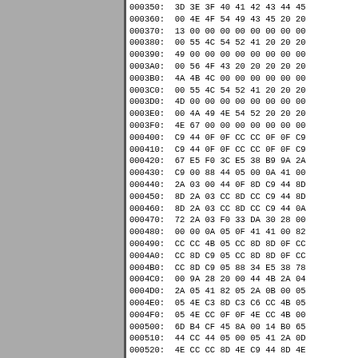[Figure (other): Gray rectangular panel on the left side of the page]
000350:  3D 3E 3F 40 41 42 43 44 45
000360:  00 4E 4F 54 49 43 45 20 20
000370:  13 00 00 00 00 00 00 00 00
000380:  00 55 4C 54 52 41 20 20 20
000390:  49 00 00 00 00 00 00 00 00
0003A0:  00 56 4F 43 20 20 20 20 20
0003B0:  4A 4B 4C 00 00 00 00 00 00
0003C0:  00 55 4C 54 52 41 20 20 20
0003D0:  4D 00 00 00 00 00 00 00 00
0003E0:  00 4A 49 4E 54 52 20 20 20
0003F0:  4E 67 00 00 00 00 00 00 00
000400:  C9 44 0F 0F CC CC 0F 0F C9
000410:  C9 44 0F 0F CC CC 0F 0F C9
000420:  67 E5 F0 3C E5 38 B9 9A 2A
000430:  C9 00 88 44 05 00 0A 41 00
000440:  2A 03 00 44 0F 8D C9 44 8D
000450:  8D 2A 03 CC 8D CC C9 44 8D
000460:  8D 2A 03 CC 8D CC C9 44 0A
000470:  72 2A 03 F0 33 DA 30 28 00
000480:  00 00 0A 05 0F 41 41 00 82
000490:  CC CC 4B 05 CC 8D 8D 0F CC
0004A0:  CC 8D C9 05 CC 8D 8D 0F CC
0004B0:  CC 8D C9 05 88 34 E5 38 78
0004C0:  00 9A 28 20 00 44 4B 2A 04
0004D0:  2A 05 41 82 05 2A 0B 00 05
0004E0:  05 4E C3 8D C3 C6 CC 4B 05
0004F0:  05 4E CC 0F 0F 4E CC 4B 00
000500:  6D B4 CF 45 8A 00 14 B0 65
000510:  44 CC 44 05 00 05 41 2A 0D
000520:  4E CC CC 8D 4E C9 44 8D 4E